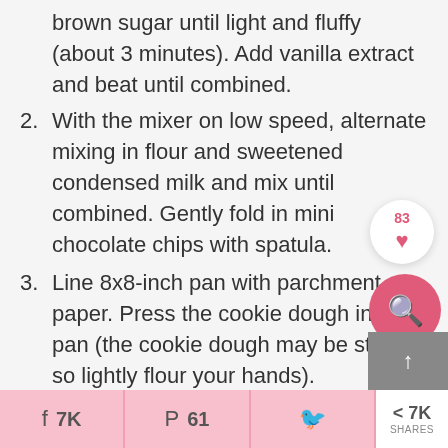brown sugar until light and fluffy (about 3 minutes). Add vanilla extract and beat until combined.
2. With the mixer on low speed, alternate mixing in flour and sweetened condensed milk and mix until combined. Gently fold in mini chocolate chips with spatula.
3. Line 8x8-inch pan with parchment paper. Press the cookie dough into the pan (the cookie dough may be sticky, so lightly flour your hands).